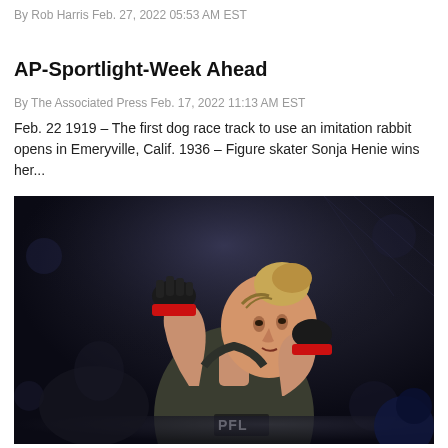By Rob Harris Feb. 27, 2022 05:53 AM EST
AP-Sportlight-Week Ahead
By The Associated Press Feb. 17, 2022 11:13 AM EST
Feb. 22 1919 – The first dog race track to use an imitation rabbit opens in Emeryville, Calif. 1936 – Figure skater Sonja Henie wins her...
[Figure (photo): Female MMA fighter in PFL gear with black and red gloves raised in fighting stance against dark arena background]